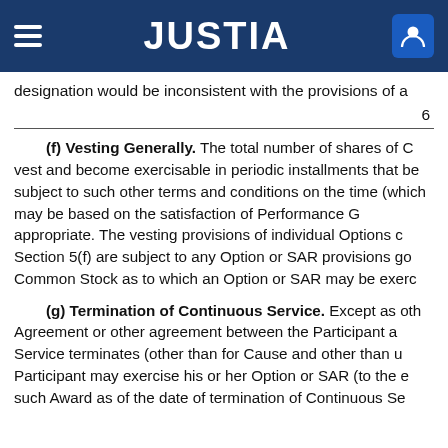JUSTIA
designation would be inconsistent with the provisions of a
6
(f) Vesting Generally. The total number of shares of C vest and become exercisable in periodic installments that be subject to such other terms and conditions on the time (which may be based on the satisfaction of Performance G appropriate. The vesting provisions of individual Options c Section 5(f) are subject to any Option or SAR provisions go Common Stock as to which an Option or SAR may be exerc
(g) Termination of Continuous Service. Except as oth Agreement or other agreement between the Participant a Service terminates (other than for Cause and other than u Participant may exercise his or her Option or SAR (to the e such Award as of the date of termination of Continuous Se